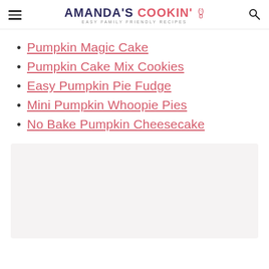AMANDA'S COOKIN' · EASY FAMILY FRIENDLY RECIPES
Pumpkin Magic Cake
Pumpkin Cake Mix Cookies
Easy Pumpkin Pie Fudge
Mini Pumpkin Whoopie Pies
No Bake Pumpkin Cheesecake
[Figure (photo): Light grey/beige placeholder image area at the bottom of the page, partially visible.]